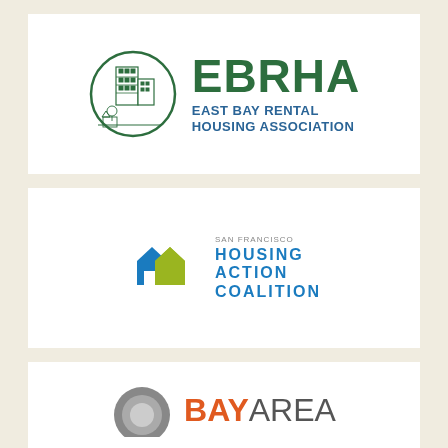[Figure (logo): EBRHA - East Bay Rental Housing Association logo. Green circle with building illustration on left, large green 'EBRHA' text on right with blue subtitle 'EAST BAY RENTAL HOUSING ASSOCIATION']
[Figure (logo): San Francisco Housing Action Coalition logo. Two overlapping house arrow shapes in blue and olive/yellow-green, with text 'San Francisco HOUSING ACTION COALITION' in blue and gray]
[Figure (logo): Bay Area logo (partially visible). Gray circular emblem on left, 'BAY' in orange bold and 'AREA' in gray medium weight text]